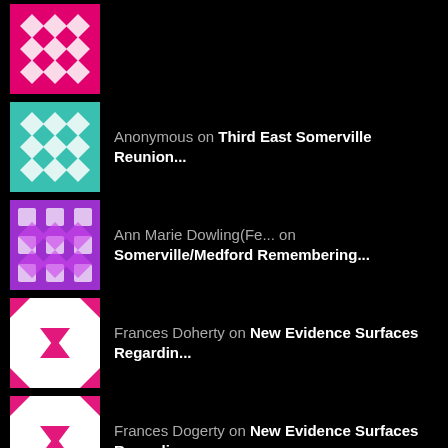(pink avatar) on Third East Somerville Reunion...
Anonymous on Third East Somerville Reunion...
Ann Marie Dowling(Fe... on Somerville/Medford Remembering...
Frances Doherty on New Evidence Surfaces Regardin...
Frances Dogerty on New Evidence Surfaces Regardin...
Anonymous on Somerville/Medford News Weekly...
Karen G. on MBTA Orange and Green Line Clo...
Claire Goodwin on Somerville/Medford News Weekly...